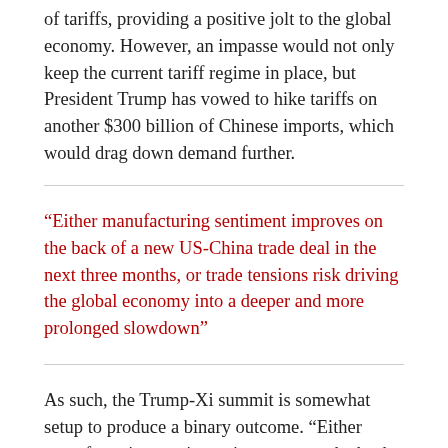of tariffs, providing a positive jolt to the global economy. However, an impasse would not only keep the current tariff regime in place, but President Trump has vowed to hike tariffs on another $300 billion of Chinese imports, which would drag down demand further.
“Either manufacturing sentiment improves on the back of a new US-China trade deal in the next three months, or trade tensions risk driving the global economy into a deeper and more prolonged slowdown”
As such, the Trump-Xi summit is somewhat setup to produce a binary outcome. “Either manufacturing sentiment improves on the back of a new US-China trade deal in the next three months, or trade